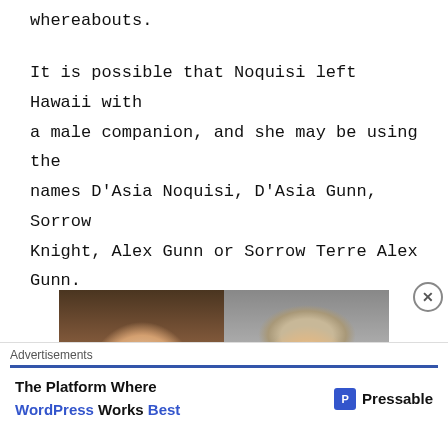whereabouts.
It is possible that Noquisi left Hawaii with a male companion, and she may be using the names D'Asia Noquisi, D'Asia Gunn, Sorrow Knight, Alex Gunn or Sorrow Terre Alex Gunn.
[Figure (photo): Two side-by-side photographs of a missing person: left photo shows a younger girl with reddish-brown hair, right photo shows an age-progression image of the same person as an adult woman with blonde hair wearing a denim jacket.]
Advertisements
The Platform Where WordPress Works Best   Pressable